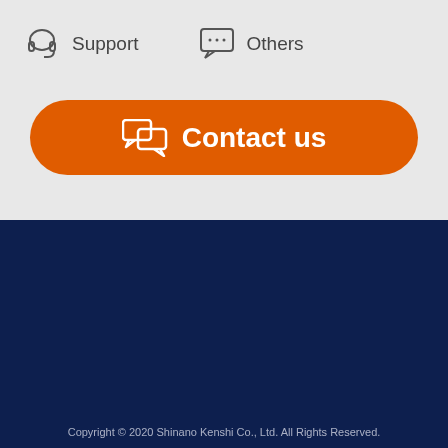[Figure (screenshot): Support navigation icon with headset and label 'Support', and chat bubble icon with label 'Others']
[Figure (screenshot): Orange rounded button with chat icons and text 'Contact us']
[Figure (logo): LinkedIn logo in white box on dark navy background]
News
About this site
Privacy policy
[Figure (screenshot): Orange circle button with chat icon and 'Contact' label]
[Figure (screenshot): White circle button with hamburger menu icon and 'Menu' label]
Copyright © 2020 Shinano Kenshi Co., Ltd. All Rights Reserved.